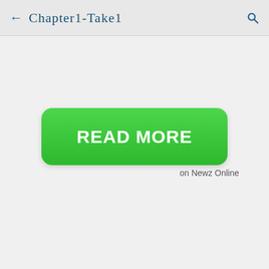← Chapter1-Take1
[Figure (screenshot): A green rounded rectangle button with white bold text reading READ MORE]
on Newz Online